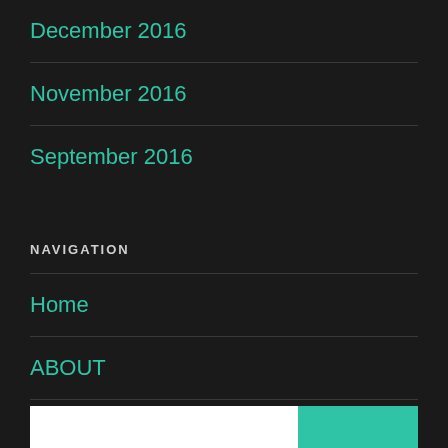December 2016
November 2016
September 2016
NAVIGATION
Home
ABOUT
Contact